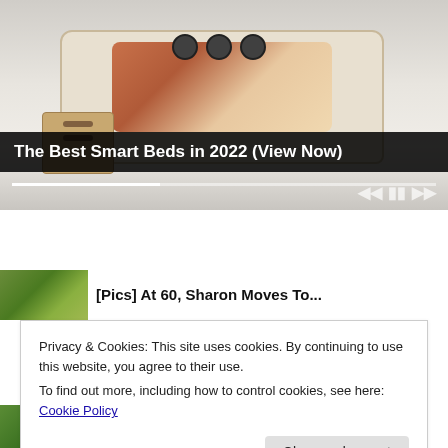[Figure (photo): Advertisement image of a luxury smart bed with built-in speakers, storage drawers, massage chair attachments, and various features. Shows a beige/cream colored bed with multiple accessories. Media player controls and progress bar visible at bottom of image.]
The Best Smart Beds in 2022 (View Now)
[Pics] At 60, Sharon Moves To...
Privacy & Cookies: This site uses cookies. By continuing to use this website, you agree to their use.
To find out more, including how to control cookies, see here: Cookie Policy
Close and accept
[Pics] At 77, Tom Selleck Lives